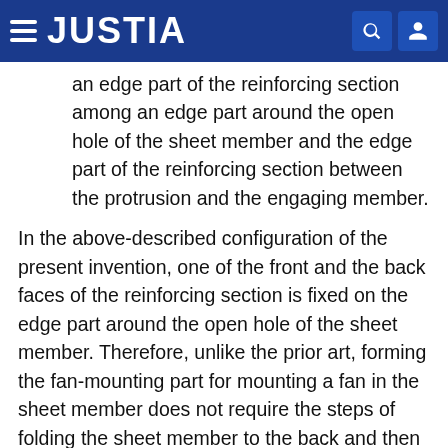JUSTIA
an edge part of the reinforcing section among an edge part around the open hole of the sheet member and the edge part of the reinforcing section between the protrusion and the engaging member.
In the above-described configuration of the present invention, one of the front and the back faces of the reinforcing section is fixed on the edge part around the open hole of the sheet member. Therefore, unlike the prior art, forming the fan-mounting part for mounting a fan in the sheet member does not require the steps of folding the sheet member to the back and then inserting a reinforcing section to the folded part of the sheet member and patching a back fabric to the part of sheet member. That is, the fan-mounting part can be readily formed in the sheet member. Further, the non-